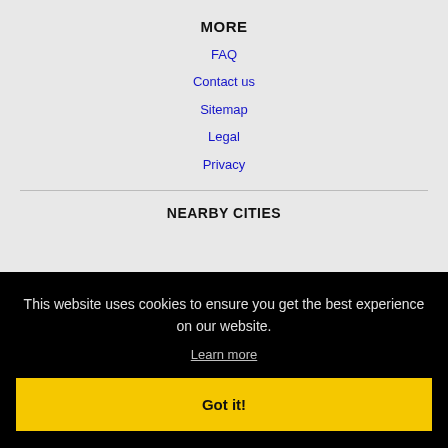MORE
FAQ
Contact us
Sitemap
Legal
Privacy
NEARBY CITIES
This website uses cookies to ensure you get the best experience on our website.
Learn more
Got it!
Wilson, NC Jobs